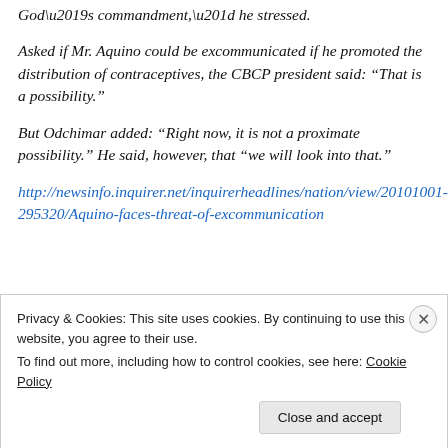God’s commandment,” he stressed.
Asked if Mr. Aquino could be excommunicated if he promoted the distribution of contraceptives, the CBCP president said: “That is a possibility.”
But Odchimar added: “Right now, it is not a proximate possibility.” He said, however, that “we will look into that.”
http://newsinfo.inquirer.net/inquirerheadlines/nation/view/20101001-295320/Aquino-faces-threat-of-excommunication
Privacy & Cookies: This site uses cookies. By continuing to use this website, you agree to their use.
To find out more, including how to control cookies, see here: Cookie Policy